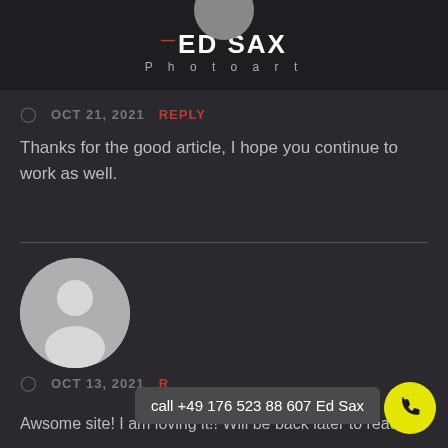ED SAX Photoart
OCT 21, 2021  REPLY
Thanks for the good article, I hope you continue to work as well.
[Figure (illustration): Generic user avatar silhouette (gray circle with person shape)]
OCT 13, 2021  R  call +49 176 523 88 607 Ed Sax
Awsome site! I am loving it!! Will be back later to read